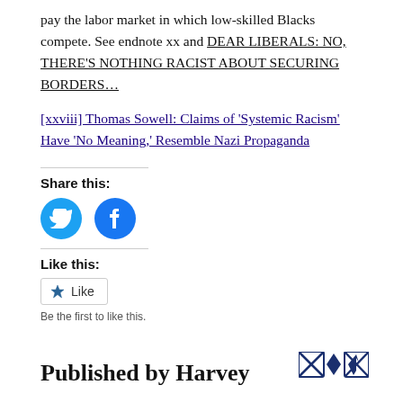pay the labor market in which low-skilled Blacks compete. See endnote xx and DEAR LIBERALS: NO, THERE'S NOTHING RACIST ABOUT SECURING BORDERS…
[xxviii] Thomas Sowell: Claims of 'Systemic Racism' Have 'No Meaning,' Resemble Nazi Propaganda
Share this:
[Figure (other): Twitter and Facebook social sharing icons (circular blue buttons)]
Like this:
[Figure (other): Like button widget with star icon]
Be the first to like this.
Published by Harvey
[Figure (logo): Decorative logo icons with diamond and cross shapes in dark blue]